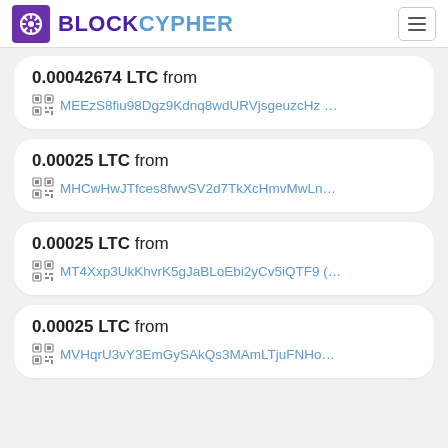BLOCKCYPHER
0.00042674 LTC from MEEzS8fiu98Dgz9Kdnq8wdURVjsgeuzcHz …
0.00025 LTC from MHCwHwJTfces8fwvSV2d7TkXcHmvMwLn…
0.00025 LTC from MT4Xxp3UkKhvrK5gJaBLoEbi2yCv5iQTF9 (…
0.00025 LTC from MVHqrU3vY3EmGySAkQs3MAmLTjuFNHo…